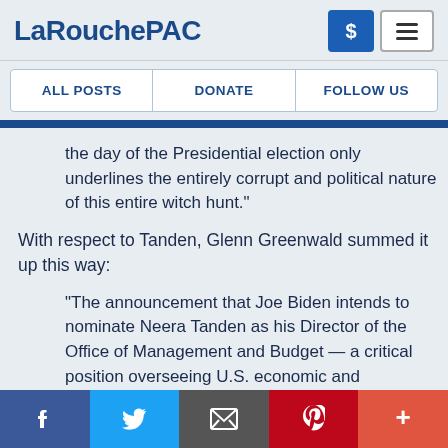LaRouchePAC
ALL POSTS | DONATE | FOLLOW US
the day of the Presidential election only underlines the entirely corrupt and political nature of this entire witch hunt."
With respect to Tanden, Glenn Greenwald summed it up this way:
“The announcement that Joe Biden intends to nominate Neera Tanden as his Director of the Office of Management and Budget — a critical position overseeing U.S. economic and regulatory policy — triggered a wide range of mockery, indignation and
Facebook | Twitter | Email | Pinterest | More